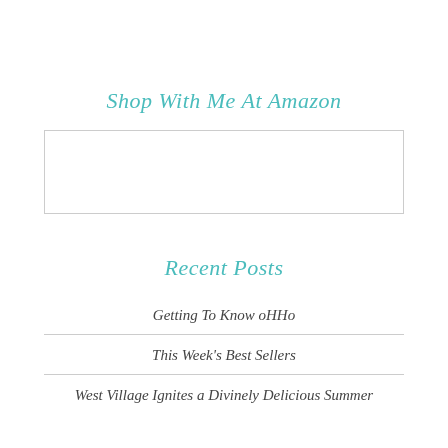Shop With Me At Amazon
[Figure (other): Empty white rectangular box with light gray border, likely a placeholder for an Amazon widget or advertisement]
Recent Posts
Getting To Know oHHo
This Week's Best Sellers
West Village Ignites a Divinely Delicious Summer